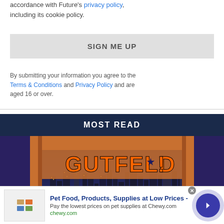accordance with Future's privacy policy, including its cookie policy.
SIGN ME UP
By submitting your information you agree to the Terms & Conditions and Privacy Policy and are aged 16 or over.
MOST READ
[Figure (photo): TV studio set for Gutfeld! show with orange and purple decor, New York City skyline visible through windows in background, host visible at bottom right]
[Figure (infographic): Advertisement banner for Chewy.com pet food and supplies with product images, title 'Pet Food, Products, Supplies at Low Prices -', description text, chewy.com URL, and a blue circular arrow button]